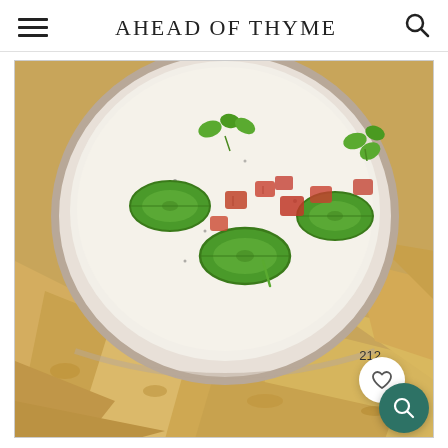AHEAD OF THYME
[Figure (photo): Top-down photo of a bowl of white queso dip topped with jalapeño slices, diced tomatoes, and cilantro, surrounded by tortilla chips. A heart/save button showing 212 likes and a teal search button are overlaid in the bottom right corner.]